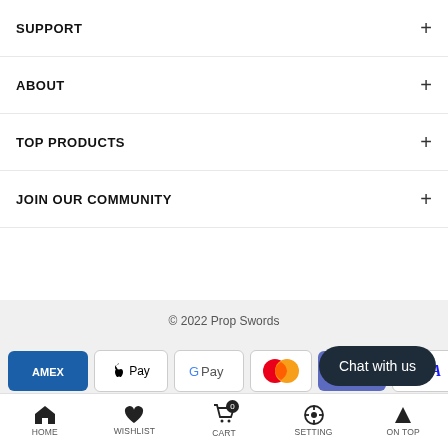SUPPORT +
ABOUT +
TOP PRODUCTS +
JOIN OUR COMMUNITY +
© 2022 Prop Swords
[Figure (other): Payment method icons: AMEX, Apple Pay, G Pay, Mastercard, Shop Pay, VISA]
Chat with us
HOME  WISHLIST  CART  SETTING  ON TOP